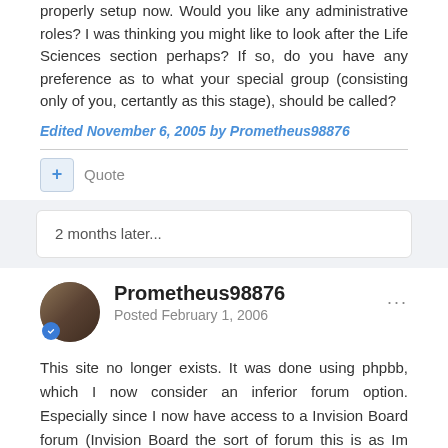properly setup now. Would you like any administrative roles? I was thinking you might like to look after the Life Sciences section perhaps? If so, do you have any preference as to what your special group (consisting only of you, certantly as this stage), should be called?
Edited November 6, 2005 by Prometheus98876
Quote
2 months later...
Prometheus98876
Posted February 1, 2006
This site no longer exists. It was done using phpbb, which I now consider an inferior forum option. Especially since I now have access to a Invision Board forum (Invision Board the sort of forum this is as Im sure most of you will have noticed).